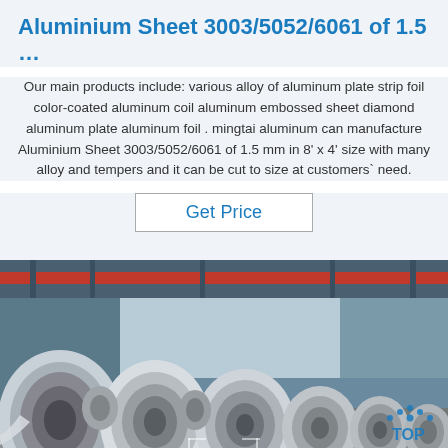Aluminium Sheet 3003/5052/6061 of 1.5 …
Our main products include: various alloy of aluminum plate strip foil color-coated aluminum coil aluminum embossed sheet diamond aluminum plate aluminum foil . mingtai aluminum can manufacture Aluminium Sheet 3003/5052/6061 of 1.5 mm in 8' x 4' size with many alloy and tempers and it can be cut to size at customers` need.
Get Price
[Figure (photo): Industrial warehouse interior showing large rolls of aluminum coil stored on the factory floor, with overhead crane visible in background, steel structure and blue lighting.]